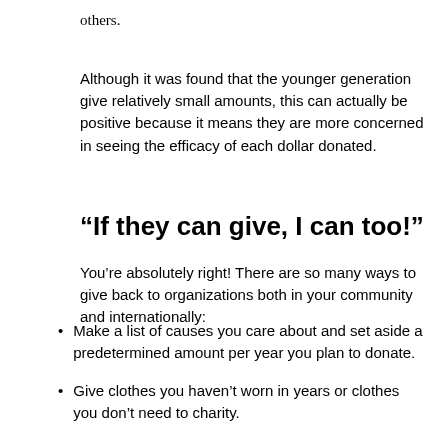others.
Although it was found that the younger generation give relatively small amounts, this can actually be positive because it means they are more concerned in seeing the efficacy of each dollar donated.
“If they can give, I can too!”
You’re absolutely right! There are so many ways to give back to organizations both in your community and internationally:
Make a list of causes you care about and set aside a predetermined amount per year you plan to donate.
Give clothes you haven’t worn in years or clothes you don’t need to charity.
Sell items you don’t use on EBay or host a yard sale and give the profits to a cause you care about.
Find volunteer opportunities near you. (Volunteermatch.org is